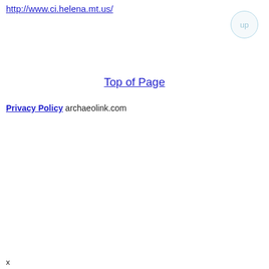http://www.ci.helena.mt.us/
up
Top of Page
Privacy Policy archaeolink.com
x